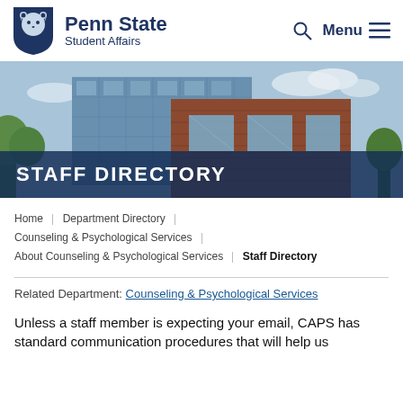[Figure (logo): Penn State Student Affairs logo with lion shield and text]
Menu
[Figure (photo): Exterior photo of a modern brick and glass university building with trees and blue sky]
STAFF DIRECTORY
Home | Department Directory | Counseling & Psychological Services | About Counseling & Psychological Services | Staff Directory
Related Department: Counseling & Psychological Services
Unless a staff member is expecting your email, CAPS has standard communication procedures that will help us